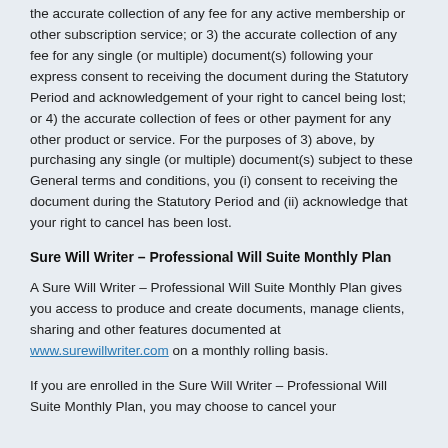the accurate collection of any fee for any active membership or other subscription service; or 3) the accurate collection of any fee for any single (or multiple) document(s) following your express consent to receiving the document during the Statutory Period and acknowledgement of your right to cancel being lost; or 4) the accurate collection of fees or other payment for any other product or service. For the purposes of 3) above, by purchasing any single (or multiple) document(s) subject to these General terms and conditions, you (i) consent to receiving the document during the Statutory Period and (ii) acknowledge that your right to cancel has been lost.
Sure Will Writer – Professional Will Suite Monthly Plan
A Sure Will Writer – Professional Will Suite Monthly Plan gives you access to produce and create documents, manage clients, sharing and other features documented at www.surewillwriter.com on a monthly rolling basis.
If you are enrolled in the Sure Will Writer – Professional Will Suite Monthly Plan, you may choose to cancel your